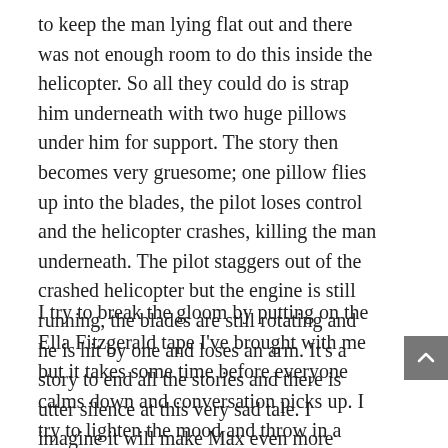to keep the man lying flat out and there was not enough room to do this inside the helicopter. So all they could do is strap him underneath with two huge pillows under him for support. The story then becomes very gruesome; one pillow flies up into the blades, the pilot loses control and the helicopter crashes, killing the man underneath. The pilot staggers out of the crashed helicopter but the engine is still running, the blades are still rotating and he is hit by one and loses an arm. It's a story to end all the stories and there is utter silence at this very sad tale. I imagine it will make Max even more likely to hold back from flying, if there is the slightest question of a problem. It's a story we could have done without.
I try to break the gloom by putting on the Ella Fitzgerald tape I've brought with me but it takes some time before everyone calms down and conversation picks up. I try to lighten the mood and throw in a kind of self-explanatory conundrum. 'A man suspects his wife is being unfaithful and she goes off with some friends, including the one he